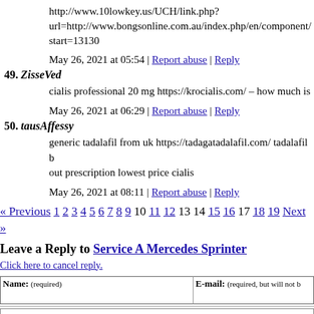http://www.10lowkey.us/UCH/link.php?url=http://www.bongsonline.com.au/index.php/en/component/start=13130
May 26, 2021 at 05:54 | Report abuse | Reply
49. ZisseVed
cialis professional 20 mg https://krocialis.com/ – how much is
May 26, 2021 at 06:29 | Report abuse | Reply
50. tausAffessy
generic tadalafil from uk https://tadagatadalafil.com/ tadalafil b out prescription lowest price cialis
May 26, 2021 at 08:11 | Report abuse | Reply
« Previous 1 2 3 4 5 6 7 8 9 10 11 12 13 14 15 16 17 18 19 Next »
Leave a Reply to Service A Mercedes Sprinter
Click here to cancel reply.
| Name: (required) | E-mail: (required, but will not b |
| --- | --- |
|  |  |